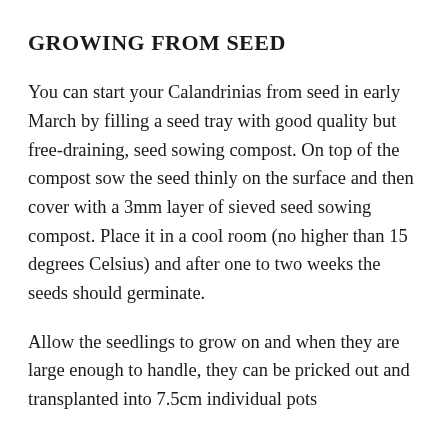GROWING FROM SEED
You can start your Calandrinias from seed in early March by filling a seed tray with good quality but free-draining, seed sowing compost. On top of the compost sow the seed thinly on the surface and then cover with a 3mm layer of sieved seed sowing compost. Place it in a cool room (no higher than 15 degrees Celsius) and after one to two weeks the seeds should germinate.
Allow the seedlings to grow on and when they are large enough to handle, they can be pricked out and transplanted into 7.5cm individual pots